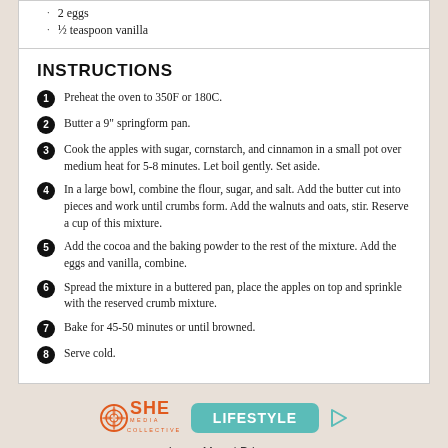2 eggs
½ teaspoon vanilla
INSTRUCTIONS
1. Preheat the oven to 350F or 180C.
2. Butter a 9" springform pan.
3. Cook the apples with sugar, cornstarch, and cinnamon in a small pot over medium heat for 5-8 minutes. Let boil gently. Set aside.
4. In a large bowl, combine the flour, sugar, and salt. Add the butter cut into pieces and work until crumbs form. Add the walnuts and oats, stir. Reserve a cup of this mixture.
5. Add the cocoa and the baking powder to the rest of the mixture. Add the eggs and vanilla, combine.
6. Spread the mixture in a buttered pan, place the apples on top and sprinkle with the reserved crumb mixture.
7. Bake for 45-50 minutes or until browned.
8. Serve cold.
SHE COLLECTIVE MEDIA LIFESTYLE | Learn More | Privacy